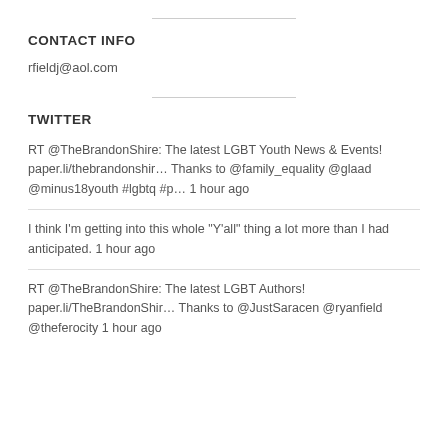CONTACT INFO
rfieldj@aol.com
TWITTER
RT @TheBrandonShire: The latest LGBT Youth News & Events! paper.li/thebrandonshir… Thanks to @family_equality @glaad @minus18youth #lgbtq #p… 1 hour ago
I think I'm getting into this whole "Y'all" thing a lot more than I had anticipated. 1 hour ago
RT @TheBrandonShire: The latest LGBT Authors! paper.li/TheBrandonShir… Thanks to @JustSaracen @ryanfield @theferocity 1 hour ago